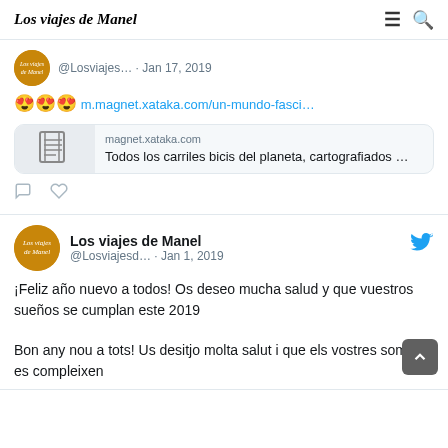Los viajes de Manel
@Losviajes… · Jan 17, 2019
😍😍😍 m.magnet.xataka.com/un-mundo-fasci…
[Figure (screenshot): Link card for magnet.xataka.com showing article: Todos los carriles bicis del planeta, cartografiados …]
Los viajes de Manel @Losviajesd… · Jan 1, 2019
¡Feliz año nuevo a todos! Os deseo mucha salud y que vuestros sueños se cumplan este 2019

Bon any nou a tots! Us desitjo molta salut i que els vostres somnis es compleixen